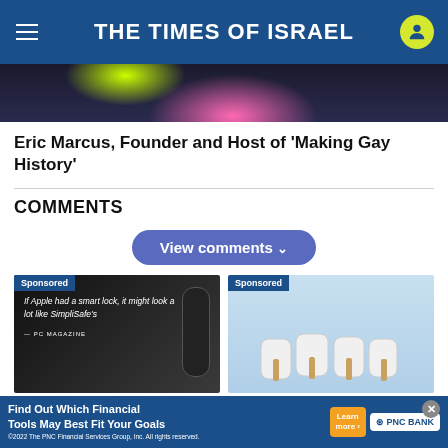THE TIMES OF ISRAEL
[Figure (photo): Partial view of a person's face with colorful background (neon yellow and pink circles) on dark background]
Eric Marcus, Founder and Host of 'Making Gay History'
COMMENTS
View comments
[Figure (photo): Sponsored ad: Dark background with text 'If Apple had a smart lock, it might look a lot like SimpliSafe's' — PC MAGAZINE, with a smart lock device image]
[Figure (photo): Sponsored ad: Dental implants image with teeth on light blue background]
Experts agree: the SimpliSafe lock as sl...
Dental Implant Prices May
Find Out Which Financial Tools May Best Fit Your Goals
©2022 The PNC Financial Services Group, Inc. All rights reserved.